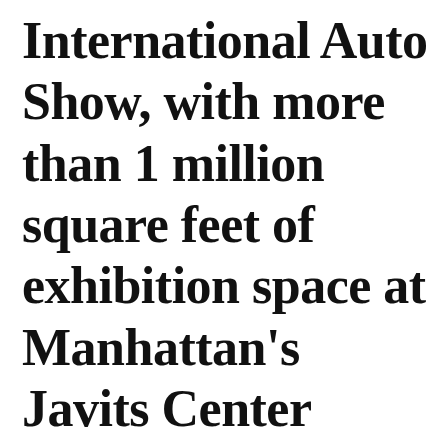International Auto Show, with more than 1 million square feet of exhibition space at Manhattan's Javits Center